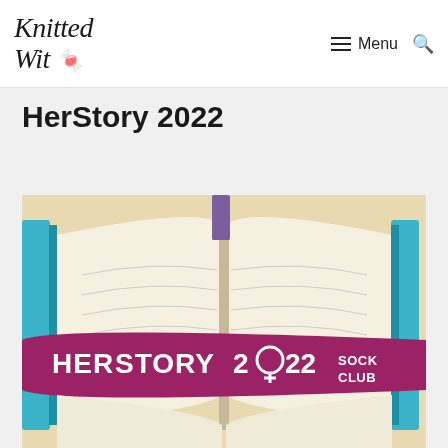Knitted Wit — Menu
HerStory 2022
[Figure (illustration): HerStory 2022 Sock Club illustration: an open book with pages spread wide, a purple bookmark sticking up, teal binding on the sides, and a large magenta/purple ribbon banner across the center reading 'HERSTORY 2022 SOCK CLUB' in bold white uppercase letters, with the female symbol replacing the zero in 2022. Background is a parchment/beige texture.]